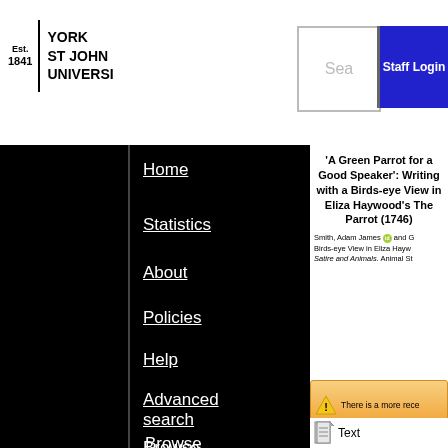Est. 1841 | YORK ST JOHN UNIVERSITY
Home
Statistics
About
Policies
Help
Advanced search
Browse
'A Green Parrot for a Good Speaker': Writing with a Birds-eye View in Eliza Haywood's The Parrot (1746)
Smith, Adam James [orcid] and G... Birds-eye View in Eliza Hayw... Satire and Animals. Animal St...
There is a more rece...
Text